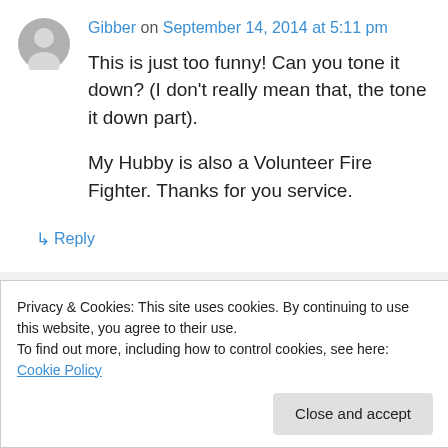Gibber on September 14, 2014 at 5:11 pm
This is just too funny! Can you tone it down? (I don't really mean that, the tone it down part).

My Hubby is also a Volunteer Fire Fighter. Thanks for you service.
↳ Reply
Ned's Blog on September 14, 2014 at 5:28 pm
Privacy & Cookies: This site uses cookies. By continuing to use this website, you agree to their use.
To find out more, including how to control cookies, see here: Cookie Policy
Close and accept
Thanks for reading, and please give your